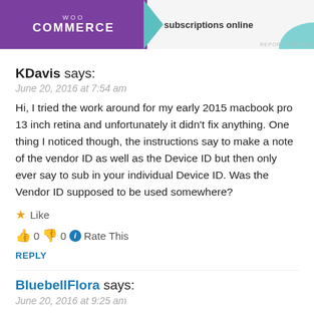[Figure (illustration): WooCommerce advertisement banner with purple background on left side, teal chevron, and text 'subscriptions online' on right]
KDavis says:
June 20, 2016 at 7:54 am
Hi, I tried the work around for my early 2015 macbook pro 13 inch retina and unfortunately it didn't fix anything. One thing I noticed though, the instructions say to make a note of the vendor ID as well as the Device ID but then only ever say to sub in your individual Device ID. Was the Vendor ID supposed to be used somewhere?
★ Like
👍 0 👎 0 ℹ Rate This
REPLY
BluebellFlora says:
June 20, 2016 at 9:25 am